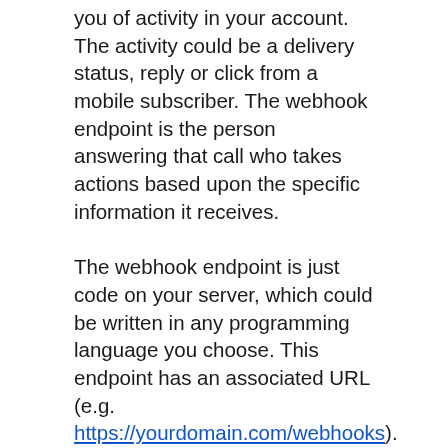you of activity in your account. The activity could be a delivery status, reply or click from a mobile subscriber. The webhook endpoint is the person answering that call who takes actions based upon the specific information it receives.
The webhook endpoint is just code on your server, which could be written in any programming language you choose. This endpoint has an associated URL (e.g. https://yourdomain.com/webhooks). The notifications are Event objects. This Event object contains all the relevant information about what just happened, including the type of event and the data associated with that event. You can then use these webhooks to trigger any required actions, such as automatically initiating another SMS or call to the mobile subscriber, updating CRM systems or updating statistics and calculating ROI on your campaigns.
Webhooks are the fastest way to receive delivery statuses, replies and clicks as an HTTP Request is performed by our servers to specified URLs as soon as